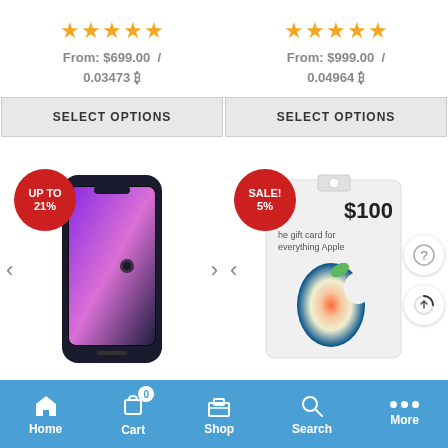★★★★★ From: $699.00 / 0.03473 ₿
SELECT OPTIONS
★★★★★ From: $999.00 / 0.04964 ₿
SELECT OPTIONS
[Figure (photo): iPhone 13 in midnight/black color, with UP TO 21% sale badge, carousel arrows on sides]
[Figure (photo): Apple $100 gift card with colorful Apple logo, SALE! 5% badge, carousel left arrow]
Home  Cart 0  Shop  Search  More